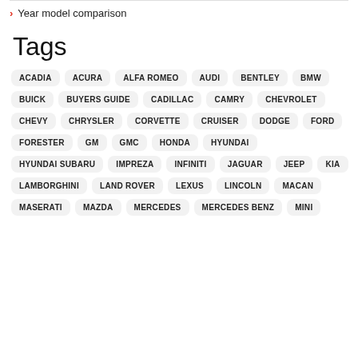Year model comparison
Tags
ACADIA
ACURA
ALFA ROMEO
AUDI
BENTLEY
BMW
BUICK
BUYERS GUIDE
CADILLAC
CAMRY
CHEVROLET
CHEVY
CHRYSLER
CORVETTE
CRUISER
DODGE
FORD
FORESTER
GM
GMC
HONDA
HYUNDAI
HYUNDAI SUBARU
IMPREZA
INFINITI
JAGUAR
JEEP
KIA
LAMBORGHINI
LAND ROVER
LEXUS
LINCOLN
MACAN
MASERATI
MAZDA
MERCEDES
MERCEDES BENZ
MINI